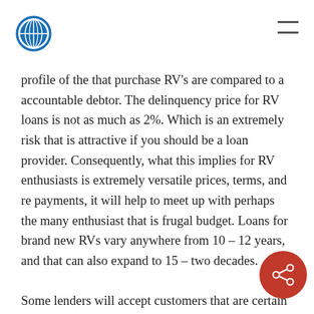profile of the that purchase RV's are compared to a accountable debtor. The delinquency price for RV loans is not as much as 2%. Which is an extremely risk that is attractive if you should be a loan provider. Consequently, what this implies for RV enthusiasts is extremely versatile prices, terms, and re payments, it will help to meet up with perhaps the many enthusiast that is frugal budget. Loans for brand new RVs vary anywhere from 10 – 12 years, and that can also expand to 15 – two decades.
Some lenders will accept customers that are certain circumstances with zero down and 100% financing. The opportunity to structure a